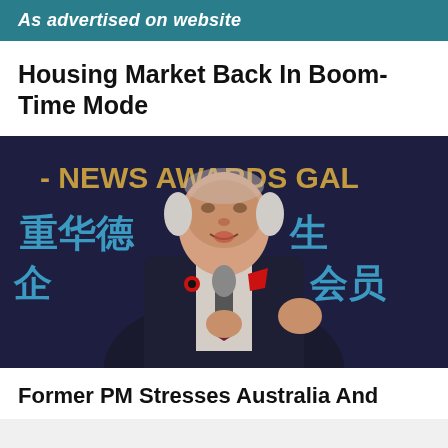As advertised on website
Housing Market Back In Boom-Time Mode
[Figure (photo): An elderly man in a dark suit with a red poppy pin and red pocket square speaks into a microphone at what appears to be a Chinese-Australian news awards gala. Chinese characters and the words 'NEWS AWARDS GALA' are visible on the backdrop behind him.]
Former PM Stresses Australia And